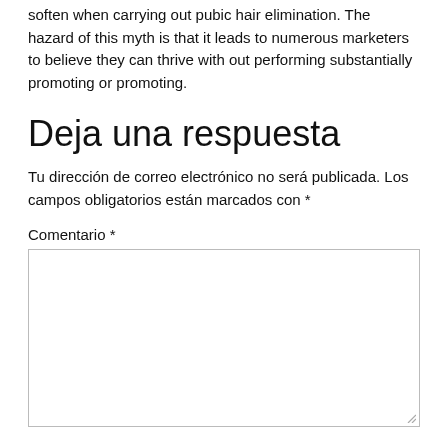soften when carrying out pubic hair elimination. The hazard of this myth is that it leads to numerous marketers to believe they can thrive with out performing substantially promoting or promoting.
Deja una respuesta
Tu dirección de correo electrónico no será publicada. Los campos obligatorios están marcados con *
Comentario *